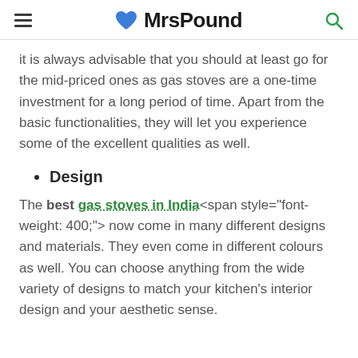MrsPound
it is always advisable that you should at least go for the mid-priced ones as gas stoves are a one-time investment for a long period of time. Apart from the basic functionalities, they will let you experience some of the excellent qualities as well.
Design
The best gas stoves in India<span style="font-weight: 400;"> now come in many different designs and materials. They even come in different colours as well. You can choose anything from the wide variety of designs to match your kitchen's interior design and your aesthetic sense.